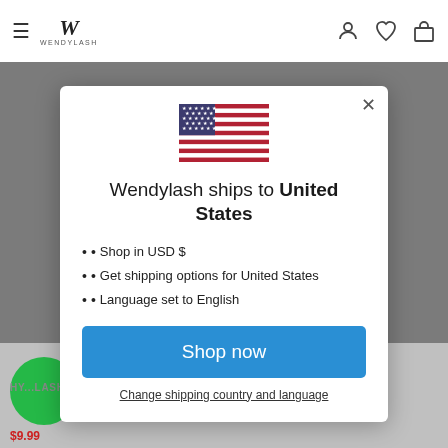[Figure (screenshot): Website header with hamburger menu, Wendylash logo, user icon, heart icon, and shopping bag icon on white background]
[Figure (screenshot): Modal dialog showing US flag, shipping info for United States, and shop now button]
Wendylash ships to United States
Shop in USD $
Get shipping options for United States
Language set to English
Shop now
Change shipping country and language
HY...LASH EXTENSIONS $9.99
Blooming lashes Easy Fan Lash Extensions Mix Length 8-30mm C&D&CC&DD Curl